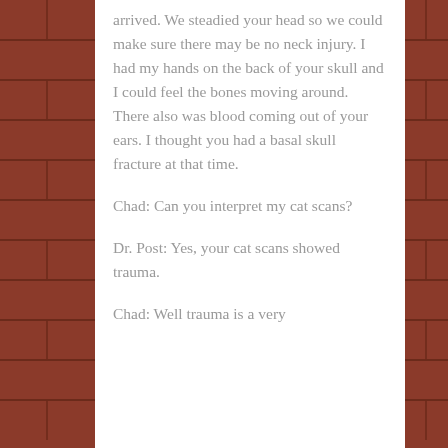arrived. We steadied your head so we could make sure there may be no neck injury. I had my hands on the back of your skull and I could feel the bones moving around. There also was blood coming out of your ears. I thought you had a basal skull fracture at that time.
Chad: Can you interpret my cat scans?
Dr. Post: Yes, your cat scans showed trauma.
Chad: Well trauma is a very